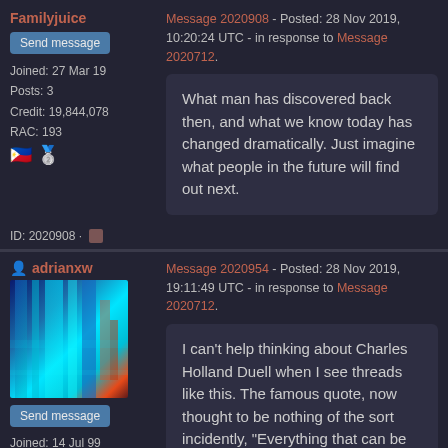Familyjuice
Send message
Joined: 27 Mar 19
Posts: 3
Credit: 19,844,078
RAC: 193
Message 2020908 - Posted: 28 Nov 2019, 10:20:24 UTC - in response to Message 2020712.
What man has discovered back then, and what we know today has changed dramatically. Just imagine what people in the future will find out next.
ID: 2020908 ·
adrianxw
[Figure (photo): Abstract colorful image with blue, cyan, and warm streaks used as avatar]
Send message
Joined: 14 Jul 99
Message 2020954 - Posted: 28 Nov 2019, 19:11:49 UTC - in response to Message 2020712.
I can't help thinking about Charles Holland Duell when I see threads like this. The famous quote, now thought to be nothing of the sort incidently, "Everything that can be